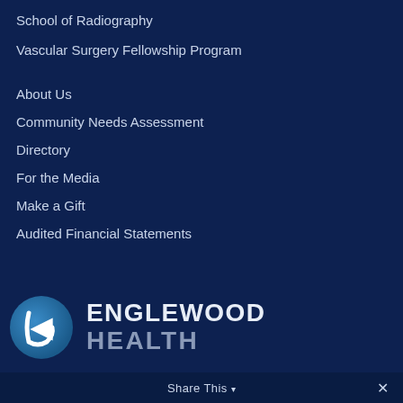School of Radiography
Vascular Surgery Fellowship Program
About Us
Community Needs Assessment
Directory
For the Media
Make a Gift
Audited Financial Statements
[Figure (logo): Englewood Health logo with circular blue E emblem and text ENGLEWOOD HEALTH]
Share This